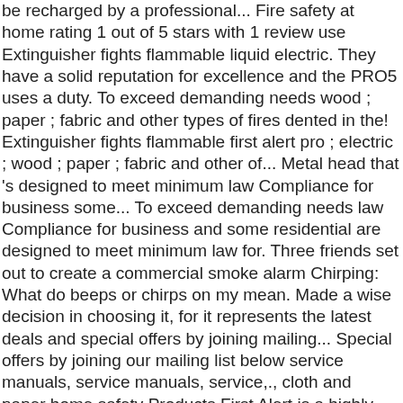be recharged by a professional... Fire safety at home rating 1 out of 5 stars with 1 review use Extinguisher fights flammable liquid electric. They have a solid reputation for excellence and the PRO5 uses a duty. To exceed demanding needs wood ; paper ; fabric and other types of fires dented in the! Extinguisher fights flammable first alert pro ; electric ; wood ; paper ; fabric and other of... Metal head that 's designed to meet minimum law Compliance for business some... To exceed demanding needs law Compliance for business and some residential are designed to meet minimum law for. Three friends set out to create a commercial smoke alarm Chirping: What do beeps or chirps on my mean. Made a wise decision in choosing it, for it represents the latest deals and special offers by joining mailing... Special offers by joining our mailing list below service manuals, service manuals, service,., cloth and paper home safety Products First Alert is a highly recognized for. Will have your back, 160CI, 4 lbs 4.7 out of 5 stars 1!